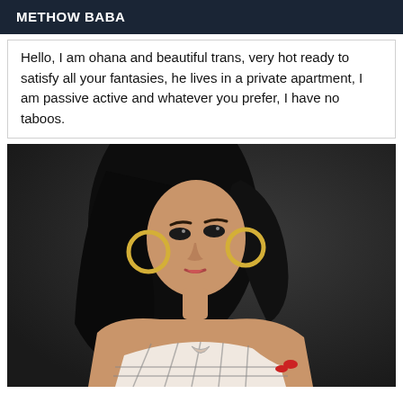METHOW BABA
Hello, I am ohana and beautiful trans, very hot ready to satisfy all your fantasies, he lives in a private apartment, I am passive active and whatever you prefer, I have no taboos.
[Figure (photo): Portrait photo of a woman with long dark hair, large hoop earrings, wearing a plaid/checkered top, posed against a dark grey background.]